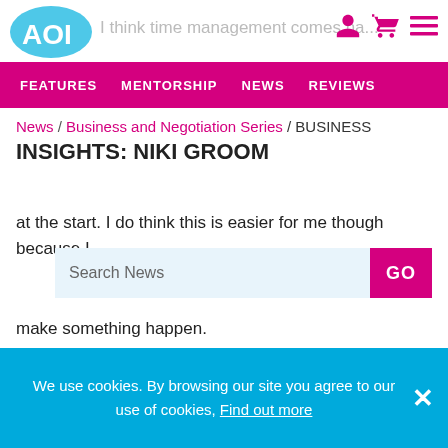AOI | I think time management comes na... | I've never missed a deadline. I'm always realistic with how long things will take. I will go straight to the client though
FEATURES  MENTORSHIP  NEWS  REVIEWS
News / Business and Negotiation Series / BUSINESS INSIGHTS: NIKI GROOM
at the start. I do think this is easier for me though because I
make something happen.
Taking time out is not something I'm great at. Last year I worked so hard due to the poor year before, and took on a lot of event work. Much of this was in London but some was overseas and there was so much travel. In December I could
We use cookies. By browsing our site you agree to our use of cookies, Find out more